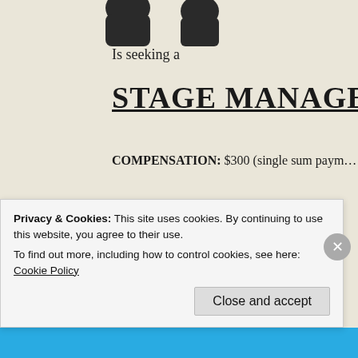[Figure (illustration): Partial illustration at top of page, showing what appears to be a figure, cropped]
Is seeking a
STAGE MANAGER
COMPENSATION: $300 (single sum paym…
TO APPLY: Email resume to jared@weth…
RESPONSIBILITIES:
1. Facilitating communication betwe…
Privacy & Cookies: This site uses cookies. By continuing to use this website, you agree to their use.
To find out more, including how to control cookies, see here: Cookie Policy
Close and accept